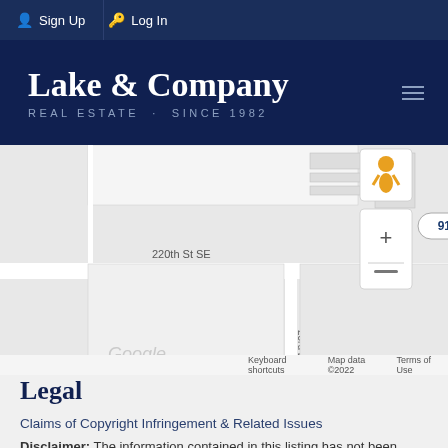Sign Up  Log In
[Figure (logo): Lake & Company Real Estate Since 1982 logo on dark navy background]
[Figure (map): Google Maps screenshot showing intersection of 220th St SE, 23rd Dr SE, and 26th Pl SE with a 913.1K property marker, zoom controls, and pegman icon. Map data ©2022. Keyboard shortcuts. Terms of Use.]
Legal
Claims of Copyright Infringement & Related Issues
Disclaimer: The information contained in this listing has not been verified by Northwest Multiple Listing Service